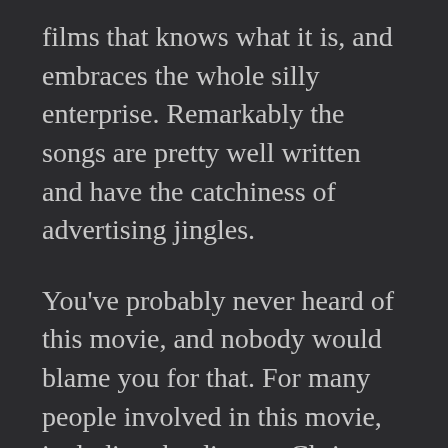films that knows what it is, and embraces the whole silly enterprise. Remarkably the songs are pretty well written and have the catchiness of advertising jingles.
You've probably never heard of this movie, and nobody would blame you for that. For many people involved in this movie, including the director Chris Windsor, it's the only movie they ever did. The acting is pure b-movie amateur hour, but passable for the performance that this is. The only t...